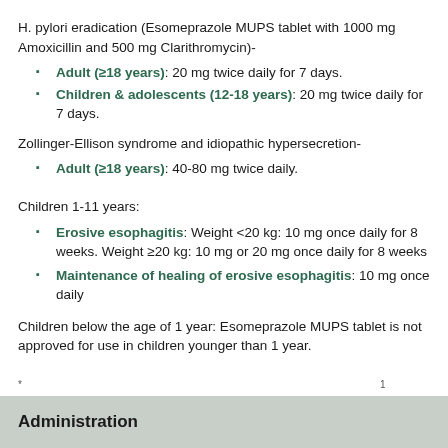H. pylori eradication (Esomeprazole MUPS tablet with 1000 mg Amoxicillin and 500 mg Clarithromycin)-
Adult (≥18 years): 20 mg twice daily for 7 days.
Children & adolescents (12-18 years): 20 mg twice daily for 7 days.
Zollinger-Ellison syndrome and idiopathic hypersecretion-
Adult (≥18 years): 40-80 mg twice daily.
Children 1-11 years:
Erosive esophagitis: Weight <20 kg: 10 mg once daily for 8 weeks. Weight ≥20 kg: 10 mg or 20 mg once daily for 8 weeks
Maintenance of healing of erosive esophagitis: 10 mg once daily
Children below the age of 1 year: Esomeprazole MUPS tablet is not approved for use in children younger than 1 year.
Administration